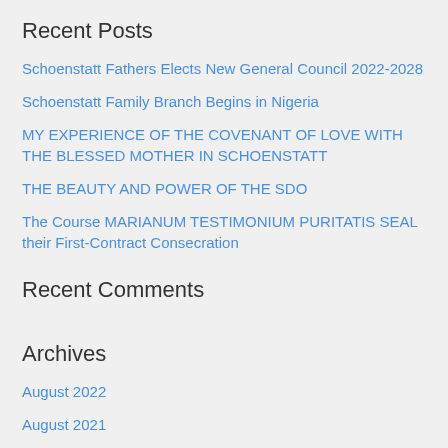Recent Posts
Schoenstatt Fathers Elects New General Council 2022-2028
Schoenstatt Family Branch Begins in Nigeria
MY EXPERIENCE OF THE COVENANT OF LOVE WITH THE BLESSED MOTHER IN SCHOENSTATT
THE BEAUTY AND POWER OF THE SDO
The Course MARIANUM TESTIMONIUM PURITATIS SEAL their First-Contract Consecration
Recent Comments
Archives
August 2022
August 2021